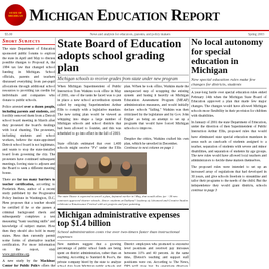Michigan Education Report
News and analysis for educators, parents, and policy makers  Spring 2003
Short Subjects
The state Department of Education sponsored public forums to explore the state in April and May to discuss possible changes to Proposal A, the 1994 tax law that changed school funding in Michigan. School officials, parents and teachers discussed everything from per-pupil allocations through additional school resources to providing tax credits for individuals and companies who donate to public schools.
Police arrested over a dozen people, including parents and students, and forcibly removed them from a Detroit school board meeting in March after they protested the board's dealings with local chanting. The protesters, including students and school workers, believe the state-appointed Detroit school board is not legitimate, and wants to stop the state-installed board from governing the city. The protesters have continued subsequent meetings, forcing state to adjourn and the Board to seek a different meeting house.
There are far too many barriers to teacher certification, according to Frederick Hess, author of a recent study published by the Progressive Policy Institute in Washington, D.C. Hess proposes that a teacher should be certified if he or she passes a criminal background check and subsequently completes a test measuring 'basic teaching skills' and knowledge of subject matter. How then they should also hold in many states. Hess then currently permit some forms of alternative teacher certification. For more information on the report, visit www.ppionline.org.
A new study by the Mackinac Center for Public Policy offers the Michigan Legislature a policy blueprint for the upcoming term, including suggestions for reforms and objectives to follow. The study recommends removing the 'cap' on charter schools, reform of teacher certification laws, and the expansion of public school choice programs among them. The study calls for elimination of language in the Michigan Constitution that prohibits tax credits for private education, and recommends that all children be allowed in public school from now as well as parents. View the study at www.mackinac.org/s399.
State Board of Education adopts school grading plan
Michigan schools to receive grades from state under new program
When Michigan Superintendent of Public Instruction Tom Watkins took office in May of 2001, one of the tasks he faced was to put in place a new school accreditation system called by outgoing Superintendent Arthur Ellis to comply with a legislative mandate. The new rating plan would be viewed as whipping into shape a large number of Michigan schools and school districts that had been allowed to founder, and this was scheduled to go into effect in the fall of 2003.
State officials estimated that over 1,400 schools might receive 'F's' under the Ellis plan. When he took office, Watkins made the unexpected step of scrapping the existing system and basing it heavily on Michigan Education Assessment Program (MEAP) administration measures, and would initially declare schools 'failing.' Watkins was then criticized by the legislature and by Gov. John Engler as being an attempt to set up a program that would have forced Michigan schools to improve.
Despite the critics, Watkins crafted his own plan, which he unveiled in December.
No local autonomy for special education in Michigan
New special education rules make few changes for districts, students
A year-long battle over special education rules ended February 14th when the Michigan State Board of Education approved a plan that made few major changes. The changes would have allowed Michigan schools more flexibility in their provision for children with disabilities.
In January of 2001 the state Department of Education, under the direction of then Superintendent of Public Instruction Arthur Ellis, proposed rules that would have eliminated state special education mandates in areas such as caseloads of students assigned to a teacher, separation of students with severe and minor disabilities, and separation of students by age groups. The new rules would have allowed local teachers and administrators to decide these matters themselves.
The proposed rules were intended to set up an increased array of regulations that had developed in 30 years, and give schools freedom to streamline and tailor their programs to the needs of the child. But the independence they would grant districts, schools continue to page 3
[Figure (photo): Students at classroom tables working on art/craft project]
The state House is expected to unveil a plan, defeated earlier in May, that would allow for +30 new contracts approved charter schools. Above: students at Oakland Academy of Advanced and Creative Studies celebrate a Renaissance Festival with art projects and face painting.
Michigan administrative expenses top $1.4 billion
School administration costs rise over two-times faster than instructional expenses
New numbers suggest that a growing percentage of public school funds are being spent on district administration, rather than on teaching. According to Standard & Poor's, the private company hired by the state to analyze school data from Michigan public schools and public school systems, central administration costs have risen more often twice as fast as instructional expenses, including teacher salaries, over the past three years.
The increase in district administrative spending is most visible at the state's largest school district, Detroit Public Schools (DPS). According to The Detroit News, has now eight District employees who promoted to excessive level positions and received pay increases between 10% and 40 percent. At the same time, Detroit's teaching and support staff positions were cut. According to The News, DPS will grow last. Its operations directors, each of whom oversees a region of schools with their own teaching positions More Pere Ferrall, whose cost annually a District stability school, told The News: 'Before they cut anything at the school level, they ought to fill these with none administrative,' she said. 'If we are in such a deep crisis, the cost need to be made at the top. We could get along without them for a couple of years.'
Administrative Costs continue to page 1
[Figure (bar-chart): Students Choosing the Michigan Public Schools of Choice Program]